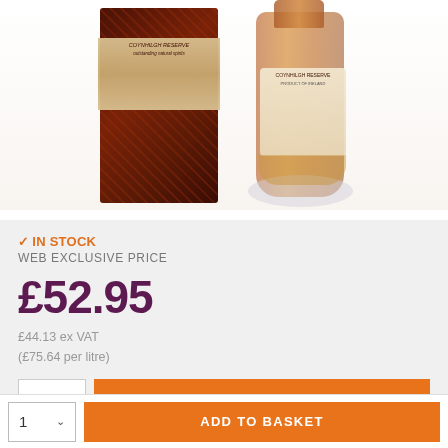[Figure (photo): Product photo of Coynhilgh Reserve whisky bottle and gift box. Brown ornate gift box on left, amber glass whisky bottle on right, both featuring branded labels.]
✓ IN STOCK
WEB EXCLUSIVE PRICE
£52.95
£44.13 ex VAT
(£75.64 per litre)
1  ADD TO BASKET
1  ADD TO BASKET